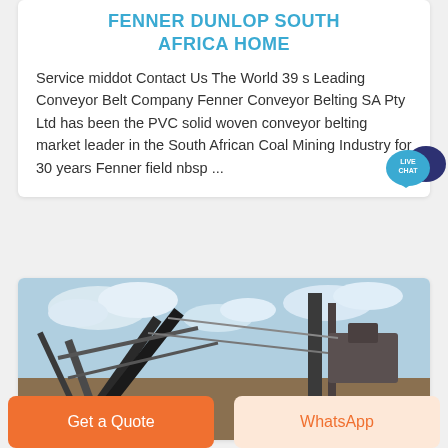FENNER DUNLOP SOUTH AFRICA HOME
Service middot Contact Us The World 39 s Leading Conveyor Belt Company Fenner Conveyor Belting SA Pty Ltd has been the PVC solid woven conveyor belting market leader in the South African Coal Mining Industry for 30 years Fenner field nbsp ...
[Figure (photo): Industrial conveyor belt structure against a cloudy sky, mining/industrial setting]
Get a Quote
WhatsApp